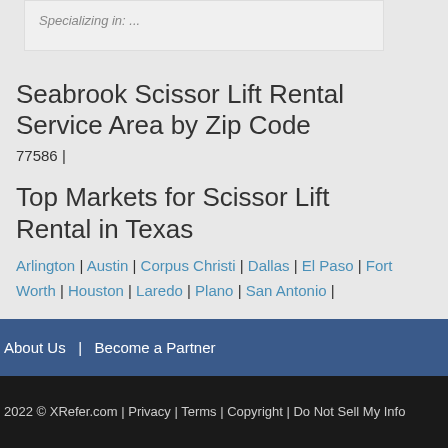Specializing in: ...
Seabrook Scissor Lift Rental Service Area by Zip Code
77586 |
Top Markets for Scissor Lift Rental in Texas
Arlington | Austin | Corpus Christi | Dallas | El Paso | Fort Worth | Houston | Laredo | Plano | San Antonio |
About Us  |  Become a Partner
2022 © XRefer.com | Privacy | Terms | Copyright | Do Not Sell My Info